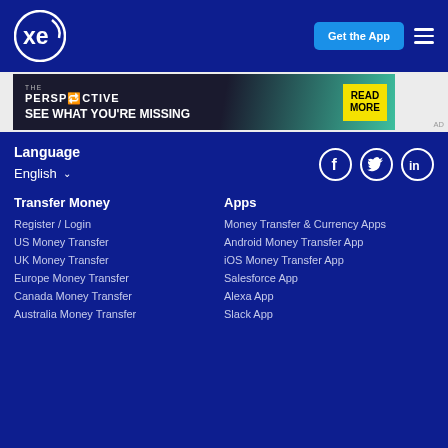XE - Get the App
[Figure (screenshot): Advertisement banner: THE PERSPECTIVE - SEE WHAT YOU'RE MISSING - READ MORE]
Language
English
[Figure (infographic): Social media icons: Facebook, Twitter, LinkedIn]
Transfer Money
Register / Login
US Money Transfer
UK Money Transfer
Europe Money Transfer
Canada Money Transfer
Australia Money Transfer
Apps
Money Transfer & Currency Apps
Android Money Transfer App
iOS Money Transfer App
Salesforce App
Alexa App
Slack App